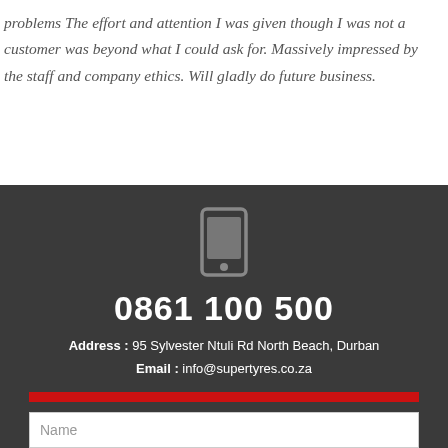problems The effort and attention I was given though I was not a customer was beyond what I could ask for. Massively impressed by the staff and company ethics. Will gladly do future business.
[Figure (illustration): Mobile phone / smartphone icon in grey outline style]
0861 100 500
Address : 95 Sylvester Ntuli Rd North Beach, Durban
Email : info@supertyres.co.za
CLICK TO VIEW BRANCHES
Name